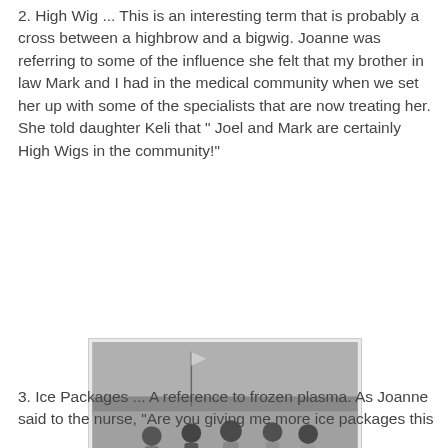2. High Wig ... This is an interesting term that is probably a cross between a highbrow and a bigwig. Joanne was referring to some of the influence she felt that my brother in law Mark and I had in the medical community when we set her up with some of the specialists that are now treating her. She told daughter Keli that " Joel and Mark are certainly High Wigs in the community!"
[Figure (photo): A black and white vintage photograph of five women posing outdoors on a grassy field. They appear to be golfers, holding golf clubs, in light summer clothing. A flag is visible in the background.]
3. Ice Packages ... A reference to frozen plasma. As Joanne said to the nurse, "Are you giving me more ice packages this